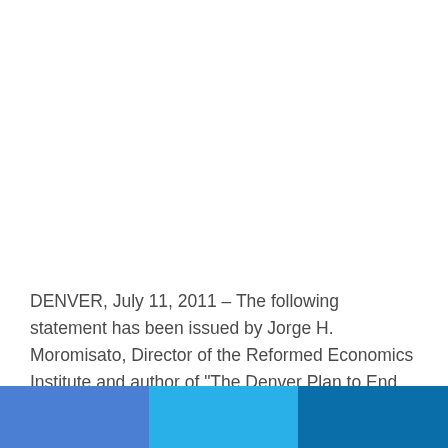DENVER, July 11, 2011 – The following statement has been issued by Jorge H. Moromisato, Director of the Reformed Economics Institute and author of "The Denver Plan to End Unemployment":
[Figure (other): Three horizontal colored bars at the bottom of the page: left bar in medium blue (#4a7fd4), center bar in light cyan-blue (#29b0e8), right bar in dark teal-blue (#0a6fa8)]